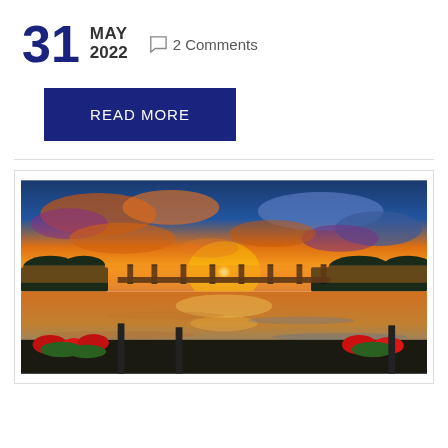31 MAY 2022  💬 2 Comments
READ MORE
[Figure (photo): Dramatic sunset over a lake with a bridge silhouette. Sky filled with orange and blue clouds reflected in the water. Red flowers and posts in the foreground.]